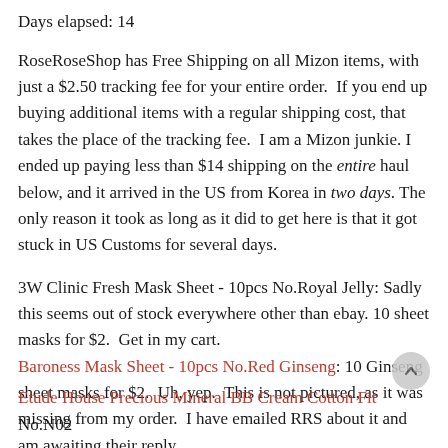Days elapsed: 14
RoseRoseShop has Free Shipping on all Mizon items, with just a $2.50 tracking fee for your entire order. If you end up buying additional items with a regular shipping cost, that takes the place of the tracking fee. I am a Mizon junkie. I ended up paying less than $14 shipping on the entire haul below, and it arrived in the US from Korea in two days. The only reason it took as long as it did to get here is that it got stuck in US Customs for several days.
3W Clinic Fresh Mask Sheet - 10pcs No.Royal Jelly: Sadly this seems out of stock everywhere other than ebay. 10 sheet masks for $2. Get in my cart.
Baroness Mask Sheet - 10pcs No.Red Ginseng: 10 Ginseng sheet masks for $2. Uh, yep. This is not pictured, as it was missing from my order. I have emailed RRS about it and am awaiting their reply.
Etude House Precious Mineral BB Cream Cotton Fit No.N02